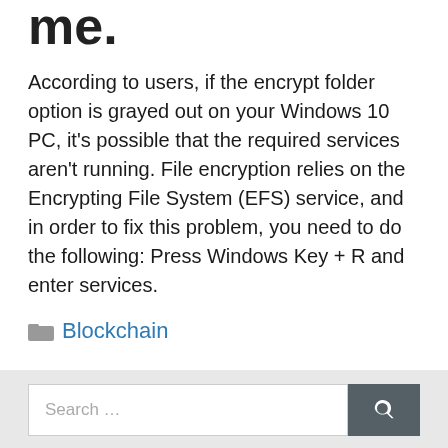me.
According to users, if the encrypt folder option is grayed out on your Windows 10 PC, it's possible that the required services aren't running. File encryption relies on the Encrypting File System (EFS) service, and in order to fix this problem, you need to do the following: Press Windows Key + R and enter services.
Blockchain
Search …